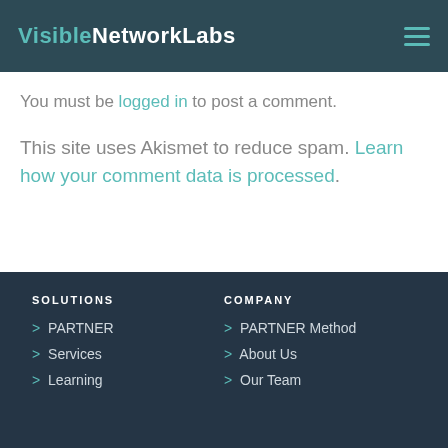VisibleNetworkLabs
You must be logged in to post a comment.
This site uses Akismet to reduce spam. Learn how your comment data is processed.
SOLUTIONS
> PARTNER
> Services
> Learning
COMPANY
> PARTNER Method
> About Us
> Our Team